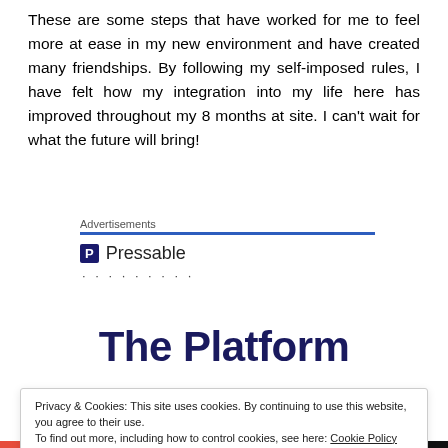These are some steps that have worked for me to feel more at ease in my new environment and have created many friendships. By following my self-imposed rules, I have felt how my integration into my life here has improved throughout my 8 months at site. I can't wait for what the future will bring!
Advertisements
[Figure (logo): Pressable logo with blue P icon and dotted line below]
The Platform
Privacy & Cookies: This site uses cookies. By continuing to use this website, you agree to their use.
To find out more, including how to control cookies, see here: Cookie Policy
Close and accept